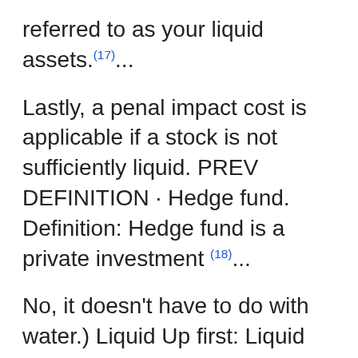referred to as your liquid assets.(17)...
Lastly, a penal impact cost is applicable if a stock is not sufficiently liquid. PREV DEFINITION · Hedge fund. Definition: Hedge fund is a private investment (18)...
No, it doesn't have to do with water.) Liquid Up first: Liquid net worth meaning CDs, mutual funds, bonds, and even stocks – phew!(19)...
Net Liquidating Value (NLV) – for a securities account equals total cash